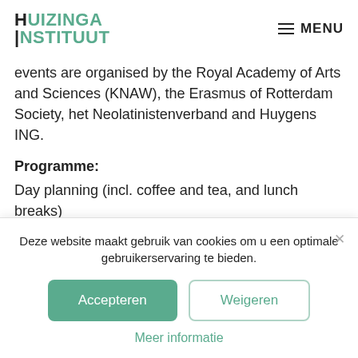HUIZINGA INSTITUUT | MENU
events are organised by the Royal Academy of Arts and Sciences (KNAW), the Erasmus of Rotterdam Society, het Neolatinistenverband and Huygens ING.
Programme: Day planning (incl. coffee and tea, and lunch breaks)
Deze website maakt gebruik van cookies om u een optimale gebruikerservaring te bieden.
Accepteren | Weigeren | Meer informatie